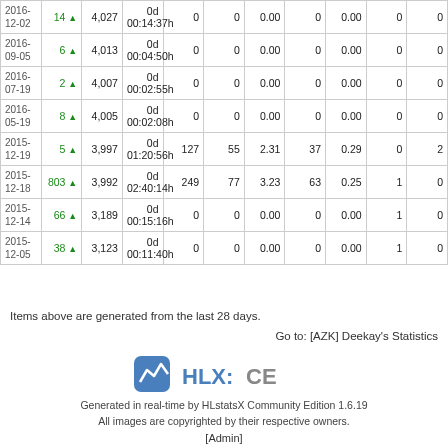| Date | Change | Skill | Play Time |  |  |  |  |  |  |  |
| --- | --- | --- | --- | --- | --- | --- | --- | --- | --- | --- |
| 2016-12-02 | 14 ▲ | 4,027 | 0d 00:14:37h | 0 | 0 | 0.00 | 0 | 0.00 | 0 | 0 |
| 2016-09-05 | 6 ▲ | 4,013 | 0d 00:04:50h | 0 | 0 | 0.00 | 0 | 0.00 | 0 | 0 |
| 2016-07-19 | 2 ▲ | 4,007 | 0d 00:02:55h | 0 | 0 | 0.00 | 0 | 0.00 | 0 | 0 |
| 2016-05-19 | 8 ▲ | 4,005 | 0d 00:02:08h | 0 | 0 | 0.00 | 0 | 0.00 | 0 | 0 |
| 2015-12-19 | 5 ▲ | 3,997 | 0d 01:20:56h | 127 | 55 | 2.31 | 37 | 0.29 | 0 | 2 |
| 2015-12-18 | 803 ▲ | 3,992 | 0d 02:40:14h | 249 | 77 | 3.23 | 63 | 0.25 | 1 | 0 |
| 2015-12-14 | 66 ▲ | 3,189 | 0d 00:15:16h | 0 | 0 | 0.00 | 0 | 0.00 | 1 | 0 |
| 2015-12-05 | 38 ▲ | 3,123 | 0d 00:11:40h | 0 | 0 | 0.00 | 0 | 0.00 | 1 | 0 |
Items above are generated from the last 28 days.
Go to: [AZK] Deekay's Statistics
[Figure (logo): HLX: CE logo with blue mountain icon]
Generated in real-time by HLstatsX Community Edition 1.6.19
All images are copyrighted by their respective owners.
[Admin]